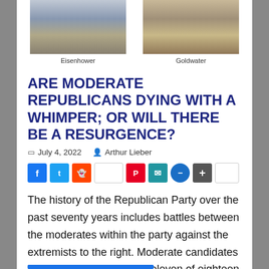[Figure (photo): Two side-by-side photos: Eisenhower (left) and Goldwater (right), black and white portrait-style]
Eisenhower    Goldwater
ARE MODERATE REPUBLICANS DYING WITH A WHIMPER; OR WILL THERE BE A RESURGENCE?
July 4, 2022   Arthur Lieber
[Figure (other): Social media share buttons: Facebook, Twitter, Reddit, blank, Pinterest, Email, Message, Share, blank]
The history of the Republican Party over the past seventy years includes battles between the moderates within the party against the extremists to the right. Moderate candidates have won the nomination eleven of eighteen times.